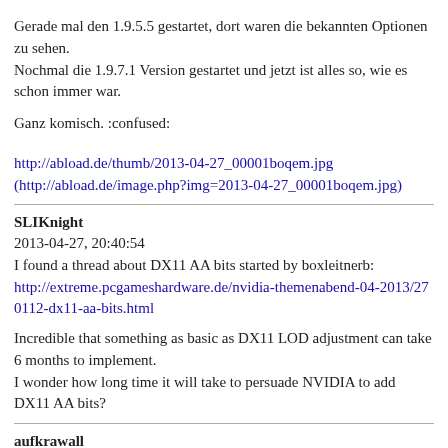Gerade mal den 1.9.5.5 gestartet, dort waren die bekannten Optionen zu sehen.
Nochmal die 1.9.7.1 Version gestartet und jetzt ist alles so, wie es schon immer war.

Ganz komisch. :confused:


http://abload.de/thumb/2013-04-27_00001boqem.jpg
(http://abload.de/image.php?img=2013-04-27_00001boqem.jpg)
SLIKnight
2013-04-27, 20:40:54
I found a thread about DX11 AA bits started by boxleitnerb:
http://extreme.pcgameshardware.de/nvidia-themenabend-04-2013/270112-dx11-aa-bits.html

Incredible that something as basic as DX11 LOD adjustment can take 6 months to implement.
I wonder how long time it will take to persuade NVIDIA to add DX11 AA bits?
aufkrawall
2013-04-27, 20:48:52
Incredible that something as basic as DX11 LOD adjustment can